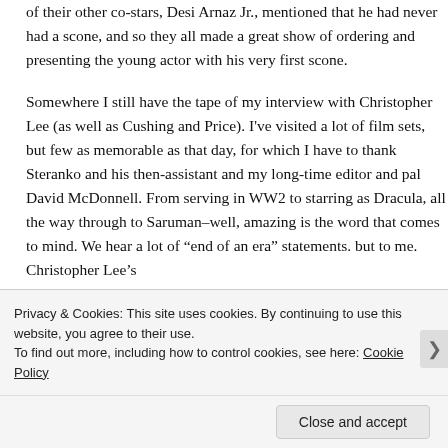of their other co-stars, Desi Arnaz Jr., mentioned that he had never had a scone, and so they all made a great show of ordering and presenting the young actor with his very first scone.
Somewhere I still have the tape of my interview with Christopher Lee (as well as Cushing and Price). I've visited a lot of film sets, but few as memorable as that day, for which I have to thank Steranko and his then-assistant and my long-time editor and pal David McDonnell. From serving in WW2 to starring as Dracula, all the way through to Saruman–well, amazing is the word that comes to mind. We hear a lot of “end of an era” statements. but to me. Christopher Lee’s
Privacy & Cookies: This site uses cookies. By continuing to use this website, you agree to their use.
To find out more, including how to control cookies, see here: Cookie Policy
Close and accept